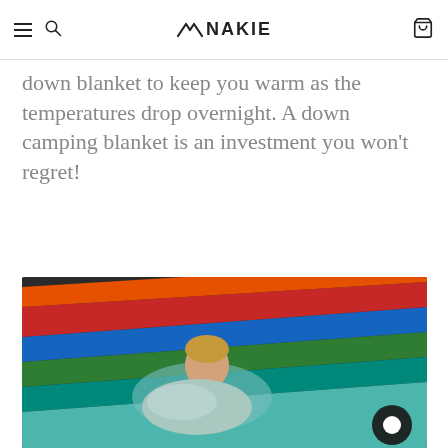NAKIE
down blanket to keep you warm as the temperatures drop overnight. A down camping blanket is an investment you won't regret!
[Figure (photo): Woman resting in a colorful striped hammock, wearing a light blue puffy jacket, outdoors with dark background. A chat bubble icon appears in the lower right corner.]